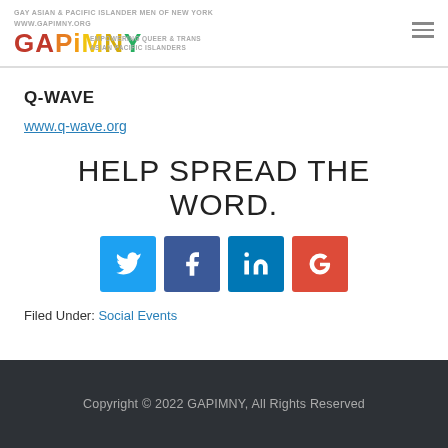GAPIMNY GAY ASIAN & PACIFIC ISLANDER MEN OF NEW YORK EMPOWERING QUEER & TRANS ASIAN PACIFIC ISLANDERS www.gapimny.org
Q-WAVE
www.q-wave.org
HELP SPREAD THE WORD.
[Figure (infographic): Four social media share buttons: Twitter (blue), Facebook (dark blue), LinkedIn (blue), Google (red-orange)]
Filed Under: Social Events
Copyright © 2022 GAPIMNY, All Rights Reserved